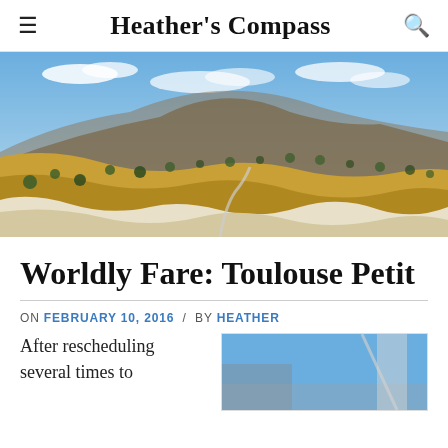Heather's Compass
[Figure (photo): Panoramic landscape photo showing arid rolling hills with scattered trees under a partly cloudy blue sky]
Worldly Fare: Toulouse Petit
ON FEBRUARY 10, 2016 / BY HEATHER
After rescheduling several times to
[Figure (photo): Partial thumbnail image with blue sky and architectural element visible]